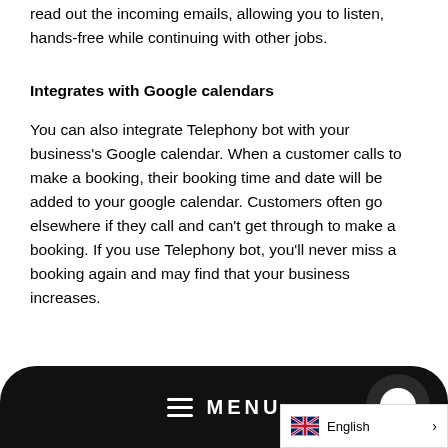read out the incoming emails, allowing you to listen, hands-free while continuing with other jobs.
Integrates with Google calendars
You can also integrate Telephony bot with your business's Google calendar. When a customer calls to make a booking, their booking time and date will be added to your google calendar. Customers often go elsewhere if they call and can't get through to make a booking. If you use Telephony bot, you'll never miss a booking again and may find that your business increases.
MENU  English >